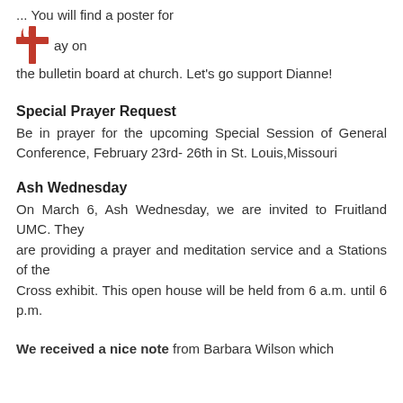... You will find a poster for ay on the bulletin board at church. Let's go support Dianne!
Special Prayer Request
Be in prayer for the upcoming Special Session of General Conference, February 23rd- 26th in St. Louis,Missouri
Ash Wednesday
On March 6, Ash Wednesday, we are invited to Fruitland UMC. They are providing a prayer and meditation service and a Stations of the Cross exhibit. This open house will be held from 6 a.m. until 6 p.m.
We received a nice note from Barbara Wilson which